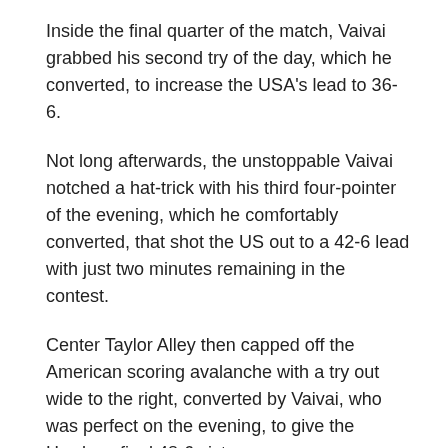Inside the final quarter of the match, Vaivai grabbed his second try of the day, which he converted, to increase the USA's lead to 36-6.
Not long afterwards, the unstoppable Vaivai notched a hat-trick with his third four-pointer of the evening, which he comfortably converted, that shot the US out to a 42-6 lead with just two minutes remaining in the contest.
Center Taylor Alley then capped off the American scoring avalanche with a try out wide to the right, converted by Vaivai, who was perfect on the evening, to give the Hawks a final 48-6 victory.
The US now has a lengthy break before taking on Canada in Game 3 of the series in Toronto in September, while for Jamaica it's a case of going home to regroup and prepare to